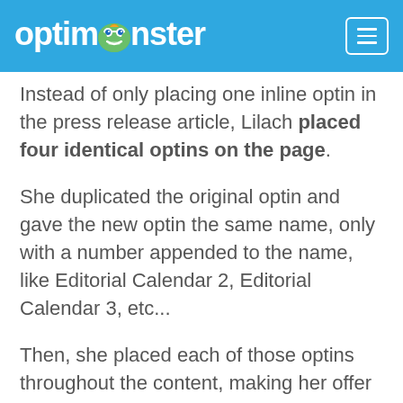optinmonster
Instead of only placing one inline optin in the press release article, Lilach placed four identical optins on the page.
She duplicated the original optin and gave the new optin the same name, only with a number appended to the name, like Editorial Calendar 2, Editorial Calendar 3, etc...
Then, she placed each of those optins throughout the content, making her offer multiple times as the reader scrolled down the page. Doing this allowed her to track which of the four placements converted best.